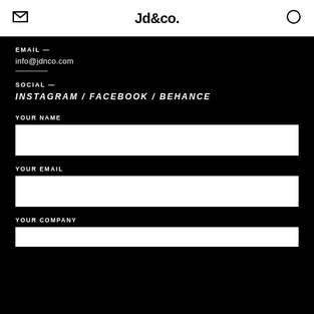Jd&co.
EMAIL —
info@jdnco.com
SOCIAL —
INSTAGRAM / FACEBOOK / BEHANCE
YOUR NAME
YOUR EMAIL
YOUR COMPANY